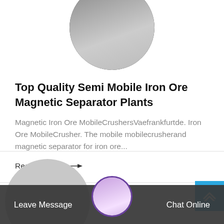[Figure (photo): Circular cropped photo of industrial equipment/machinery at top of card]
Top Quality Semi Mobile Iron Ore Magnetic Separator Plants
Magnetic Iron Ore MobileCrushersVaefrankfurtde. Iron Ore MobileCrusher. The mobile mobilecrusherand magnetic separator for iron ore...
Read More →
[Figure (photo): Partial circular gray placeholder image for second card below divider]
[Figure (photo): Customer service avatar with headset in circular frame]
Leave Message   Chat Online